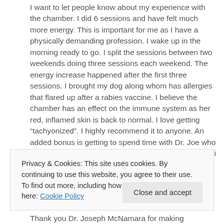I want to let people know about my experience with the chamber. I did 6 sessions and have felt much more energy. This is important for me as I have a physically demanding profession. I wake up in the morning ready to go. I split the sessions between two weekends doing three sessions each weekend. The energy increase happened after the first three sessions. I brought my dog along whom has allergies that flared up after a rabies vaccine. I believe the chamber has an effect on the immune system as her red, inflamed skin is back to normal. I love getting "tachyonized". I highly recommend it to anyone. An added bonus is getting to spend time with Dr. Joe who is a delight! My life is much easier now. Blessings, Viki
Privacy & Cookies: This site uses cookies. By continuing to use this website, you agree to their use. To find out more, including how to control cookies, see here: Cookie Policy
Thank you Dr. Joseph McNamara for making available this